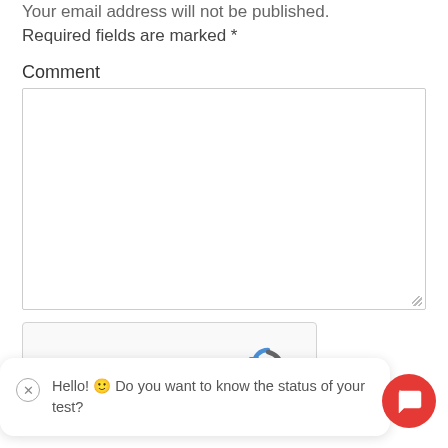Your email address will not be published. Required fields are marked *
Comment
[Figure (screenshot): Empty comment text area input field with resize handle in bottom-right corner]
[Figure (screenshot): reCAPTCHA widget with checkbox labeled 'I'm not a robot' and reCAPTCHA logo with Privacy and Terms links]
Hello! 🙂 Do you want to know the status of your test?